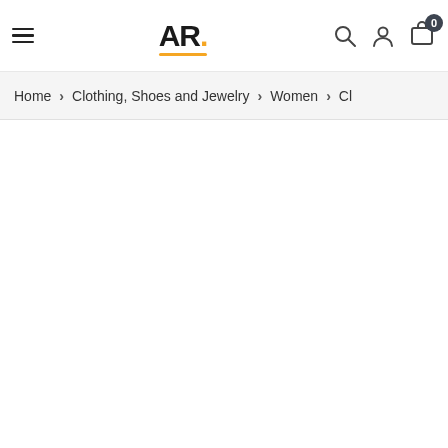AR. — navigation bar with hamburger menu, logo AR., search icon, user icon, cart icon with badge 0
Home > Clothing, Shoes and Jewelry > Women > Cl